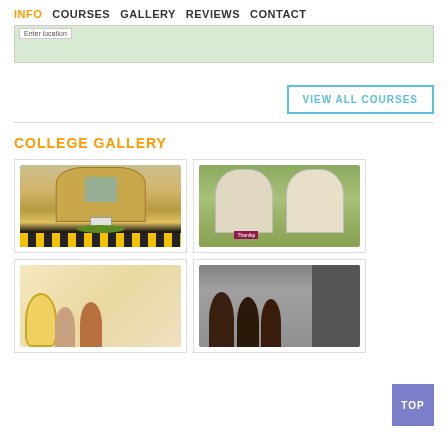INFO  COURSES  GALLERY  REVIEWS  CONTACT
[Figure (map): Partial map area with light green background and location label]
VIEW ALL COURSES
COLLEGE GALLERY
[Figure (photo): College building front view - curved facade with yellow and black striped barrier]
[Figure (photo): Aerial view of college campus with two round towers, overlay text label]
[Figure (photo): Students posing with stuffed animal]
[Figure (photo): Group of students in classroom or indoor setting]